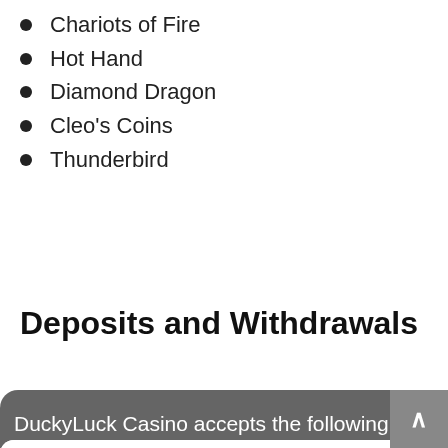Chariots of Fire
Hot Hand
Diamond Dragon
Cleo's Coins
Thunderbird
Deposits and Withdrawals
DuckyLuck Casino accepts the following making deposits or
[Figure (screenshot): A newsletter signup form widget overlaid on the page, showing a mirrored/flipped email input field labeled 'Email *' and a teal/green button with mirrored text 'Get Free Spins!'. A grey scroll-to-top button is visible at the bottom right.]